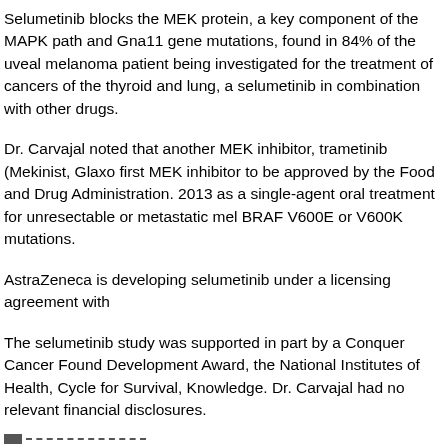Selumetinib blocks the MEK protein, a key component of the MAPK path and Gna11 gene mutations, found in 84% of the uveal melanoma patient being investigated for the treatment of cancers of the thyroid and lung, a selumetinib in combination with other drugs.
Dr. Carvajal noted that another MEK inhibitor, trametinib (Mekinist, Glaxo first MEK inhibitor to be approved by the Food and Drug Administration. 2013 as a single-agent oral treatment for unresectable or metastatic mel BRAF V600E or V600K mutations.
AstraZeneca is developing selumetinib under a licensing agreement with
The selumetinib study was supported in part by a Conquer Cancer Found Development Award, the National Institutes of Health, Cycle for Survival, Knowledge. Dr. Carvajal had no relevant financial disclosures.